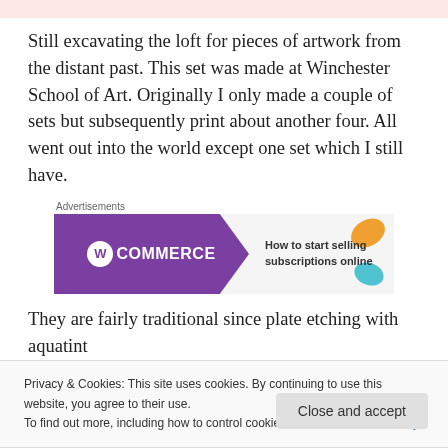Still excavating the loft for pieces of artwork from the distant past. This set was made at Winchester School of Art. Originally I only made a couple of sets but subsequently print about another four. All went out into the world except one set which I still have.
[Figure (other): WooCommerce advertisement banner: purple background with WooCommerce logo on left, arrow shape, text 'How to start selling subscriptions online' on right with orange and blue leaf decorations]
They are fairly traditional since plate etching with aquatint
Privacy & Cookies: This site uses cookies. By continuing to use this website, you agree to their use.
To find out more, including how to control cookies, see here: Cookie Policy